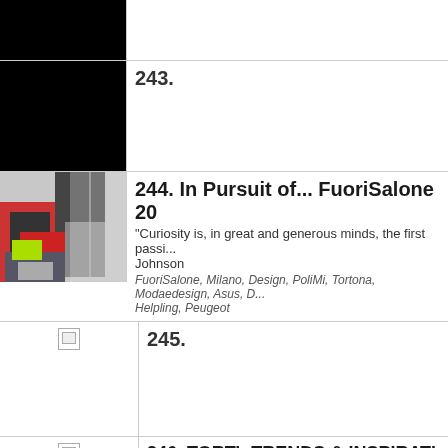[Figure (photo): Black image thumbnail (top, partially visible row)]
[Figure (photo): Dark/black photo thumbnail for item 243]
243.
[Figure (photo): Photo of bags and items on a blue table for item 244]
244. In Pursuit of... FuoriSalone 20
“Curiosity is, in great and generous minds, the first passi... Johnson
FuoriSalone, Milano, Design, PoliMi, Tortona, Modaedesign, Asus, D... Helpling, Peugeot
[Figure (photo): Broken/missing image thumbnail for item 245]
245.
[Figure (photo): Broken/missing image thumbnail for item 246]
246. TORTinTRENDS & INSPIRATI